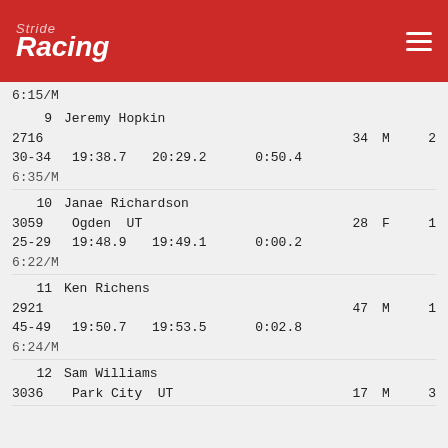Stride Racing
6:15/M
9   Jeremy Hopkin | 2716 | 34 M 2 | 30-34 19:38.7 20:29.2 0:50.4 6:35/M
10  Janae Richardson | 3059 Ogden UT | 28 F 1 | 25-29 19:48.9 19:49.1 0:00.2 6:22/M
11  Ken Richens | 2921 | 47 M 1 | 45-49 19:50.7 19:53.5 0:02.8 6:24/M
12  Sam Williams | 3036 Park City UT | 17 M 3